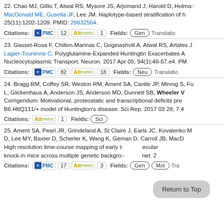22. Chao MJ, Gillis T, Atwal RS, Mysore JS, Arjomand J, Harold D, Holman... MacDonald ME, Gusela JF, Lee JM. Haplotype-based stratification of h... 25(11):1202-1209. PMID: 28832564.
Citations: PMC 12 Altmetric 1 Fields: Gen Translatio...
23. Gasset-Rosa F, Chillon-Marinas C, Goginashvili A, Atwal RS, Artates J... Lagier-Tourenne C. Polyglutamine-Expanded Huntingtin Exacerbates A... Nucleocytoplasmic Transport. Neuron. 2017 Apr 05; 94(1):48-57.e4. PM...
Citations: PMC 82 Altmetric 18 Fields: Neu Translatio...
24. Bragg RM, Coffey SR, Weston RM, Ament SA, Cantle JP, Minnig S, Fu... L, Glickenhaus A, Anderson JS, Anderson MD, Dunnett SB, Wheeler V... Corrigendum: Motivational, proteostatic and transcriptional deficits pre... B6.HttQ111/+ model of Huntington's disease. Sci Rep. 2017 03 28; 7:4...
Citations: Altmetric 1 Fields: Sci
25. Ament SA, Pearl JR, Grindeland A, St Claire J, Earls JC, Kovalenko M... D, Lee MY, Baxter D, Scherler K, Wang K, Geman D, Carroll JB, MacD... High resolution time-course mapping of early t... ecular... knock-in mice across multiple genetic backgro... net. 2...
Citations: PMC 17 Altmetric 3 Fields: Gen Mol Tra...